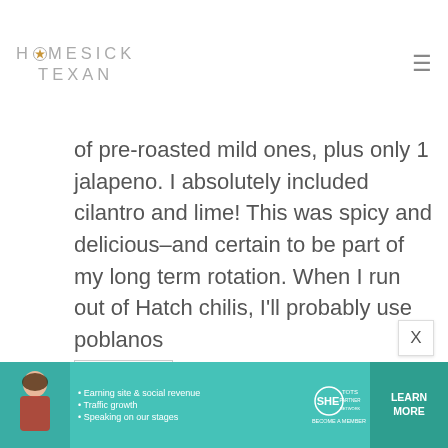HOMESICK TEXAN
of pre-roasted mild ones, plus only 1 jalapeno. I absolutely included cilantro and lime! This was spicy and delicious–and certain to be part of my long term rotation. When I run out of Hatch chilis, I'll probably use poblanos
Reply
[Figure (infographic): SHE Partner Network advertisement banner with photo of woman, bullet points about earning site & social revenue, traffic growth, speaking on our stages, SHE logo, and LEARN MORE button]